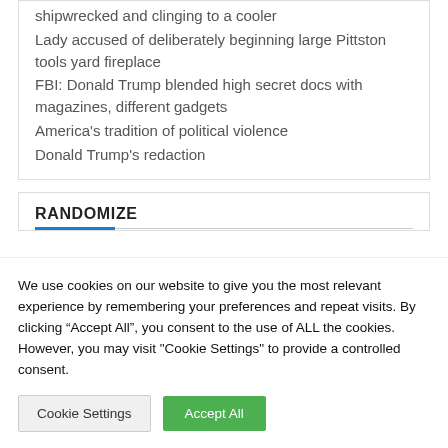shipwrecked and clinging to a cooler
Lady accused of deliberately beginning large Pittston tools yard fireplace
FBI: Donald Trump blended high secret docs with magazines, different gadgets
America's tradition of political violence
Donald Trump's redaction
RANDOMIZE
We use cookies on our website to give you the most relevant experience by remembering your preferences and repeat visits. By clicking “Accept All”, you consent to the use of ALL the cookies. However, you may visit "Cookie Settings" to provide a controlled consent.